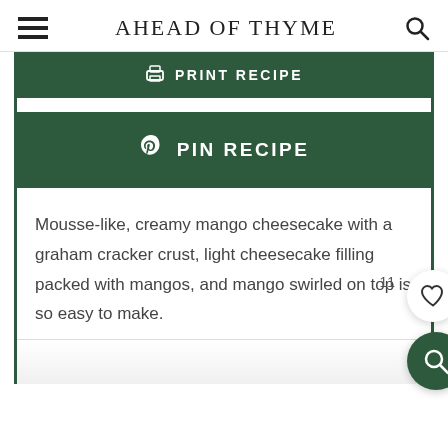AHEAD OF THYME
PRINT RECIPE
PIN RECIPE
Mousse-like, creamy mango cheesecake with a graham cracker crust, light cheesecake filling packed with mangos, and mango swirled on top is so easy to make.